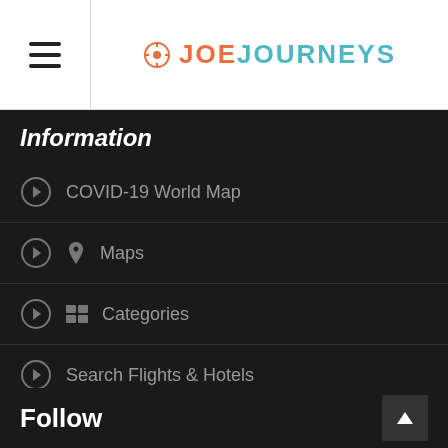JoeJourneys
Information
COVID-19 World Map
Maps
Categories
Search Flights & Hotels
About
Who is Joe?
Follow